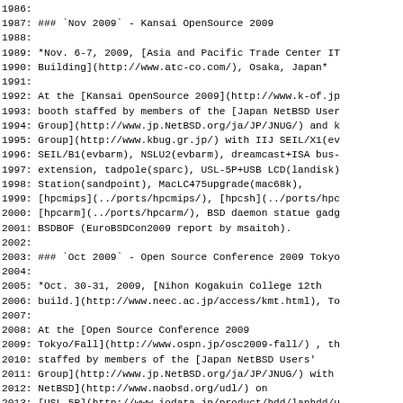Source code / markdown file viewer showing lines 1986-2015 of a NetBSD events documentation file, including sections for Kansai OpenSource 2009 and Open Source Conference 2009 Tokyo/Fall events.